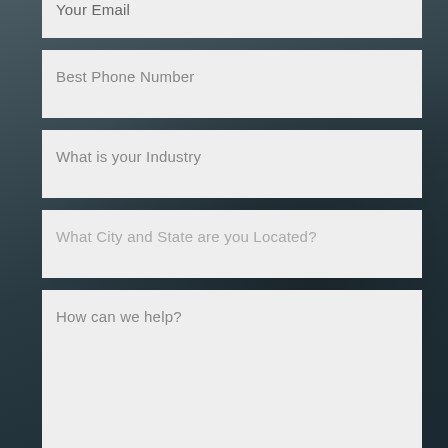Your Email
Best Phone Number
What is your Industry
What City and State are you Located?
How can we help?